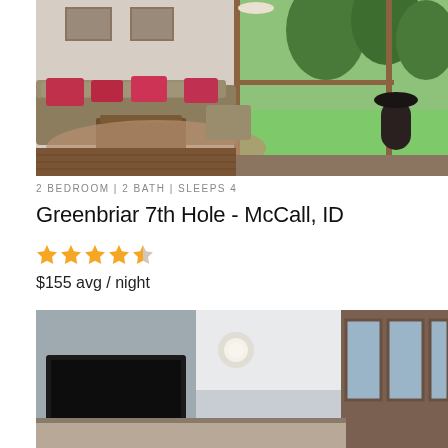[Figure (photo): Interior photo of a living room with a sectional sofa with pink/red throw pillows, a wooden coffee table, patterned rug, and large windows overlooking a green outdoor area with trees.]
2 BEDROOM | 2 BATH | SLEEPS 4
Greenbriar 7th Hole - McCall, ID
★★★★½
$155 avg / night
[Figure (photo): Interior photo of a bedroom or living space with a TV mounted on the wall, ceiling light, and windows with views outside.]